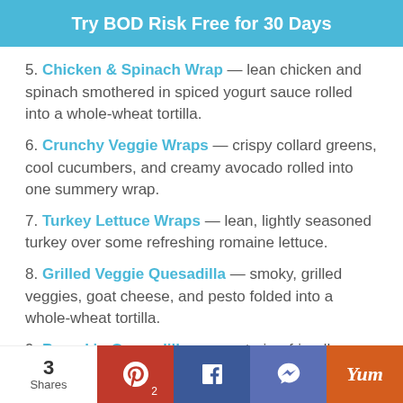Try BOD Risk Free for 30 Days
5. Chicken & Spinach Wrap — lean chicken and spinach smothered in spiced yogurt sauce rolled into a whole-wheat tortilla.
6. Crunchy Veggie Wraps — crispy collard greens, cool cucumbers, and creamy avocado rolled into one summery wrap.
7. Turkey Lettuce Wraps — lean, lightly seasoned turkey over some refreshing romaine lettuce.
8. Grilled Veggie Quesadilla — smoky, grilled veggies, goat cheese, and pesto folded into a whole-wheat tortilla.
9. Pumpkin Quesadilla — vegetarian-friendly quesadilla stuffed with nutritious pumpkin puree and pepper jack
3 Shares | Pinterest 2 | Facebook | SMS | Yum